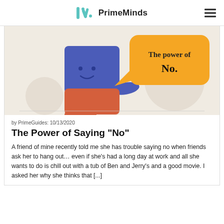PrimeMinds
[Figure (illustration): Illustrated character (blue and red robot/figure) holding an orange speech bubble sign that reads 'The power of No.' on a beige background with circular decorative shapes.]
by PrimeGuides: 10/13/2020
The Power of Saying “No”
A friend of mine recently told me she has trouble saying no when friends ask her to hang out… even if she’s had a long day at work and all she wants to do is chill out with a tub of Ben and Jerry’s and a good movie. I asked her why she thinks that […]